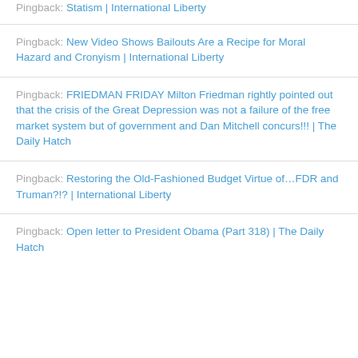Pingback: Statism | International Liberty
Pingback: New Video Shows Bailouts Are a Recipe for Moral Hazard and Cronyism | International Liberty
Pingback: FRIEDMAN FRIDAY Milton Friedman rightly pointed out that the crisis of the Great Depression was not a failure of the free market system but of government and Dan Mitchell concurs!!! | The Daily Hatch
Pingback: Restoring the Old-Fashioned Budget Virtue of…FDR and Truman?!? | International Liberty
Pingback: Open letter to President Obama (Part 318) | The Daily Hatch